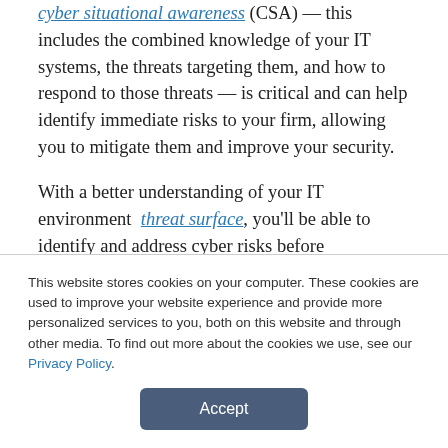cyber situational awareness (CSA) — this includes the combined knowledge of your IT systems, the threats targeting them, and how to respond to those threats — is critical and can help identify immediate risks to your firm, allowing you to mitigate them and improve your security.

With a better understanding of your IT environment  threat surface, you'll be able to identify and address cyber risks before
This website stores cookies on your computer. These cookies are used to improve your website experience and provide more personalized services to you, both on this website and through other media. To find out more about the cookies we use, see our Privacy Policy.